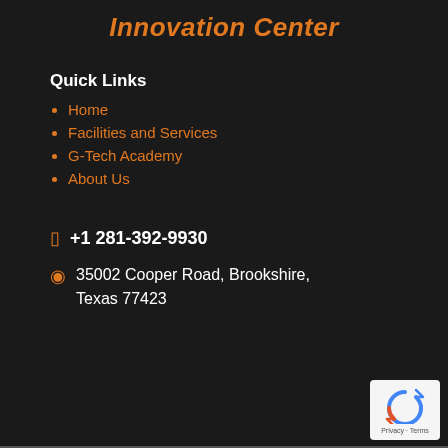Innovation Center
Quick Links
Home
Facilities and Services
G-Tech Academy
About Us
+1 281-392-9930
35002 Cooper Road, Brookshire, Texas 77423
[Figure (logo): reCAPTCHA badge with Privacy and Terms text]